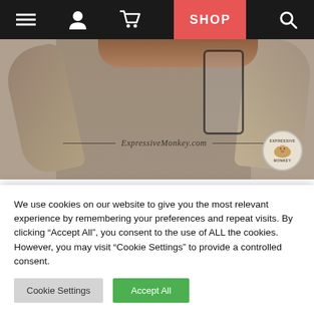Navigation bar with menu, user, cart, SHOP, and search icons
[Figure (photo): Person wearing an olive/khaki shirt holding a phone, with ExpressiveMonkey.com watermark and Expressive Monkey logo circle]
CLASS REWARDS FOR GOOD BEHAVIOR IN ART
Make giving out a class reward easier on yourself!
Classroom Management in the Art Room Students
We use cookies on our website to give you the most relevant experience by remembering your preferences and repeat visits. By clicking “Accept All”, you consent to the use of ALL the cookies. However, you may visit "Cookie Settings" to provide a controlled consent.